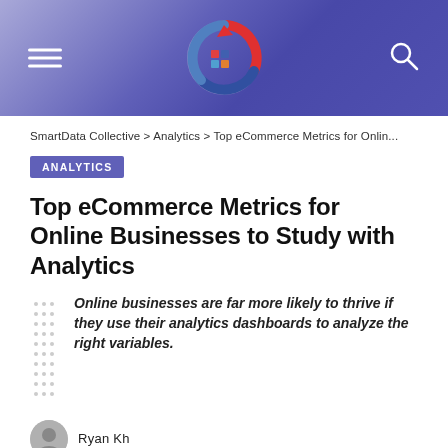[Figure (logo): Website header with purple/blue gradient background, hamburger menu icon on the left, circular logo in the center, search icon on the right]
SmartData Collective > Analytics > Top eCommerce Metrics for Onlin...
ANALYTICS
Top eCommerce Metrics for Online Businesses to Study with Analytics
Online businesses are far more likely to thrive if they use their analytics dashboards to analyze the right variables.
Ryan Kh
[Figure (photo): Article featured image placeholder (light gray box)]